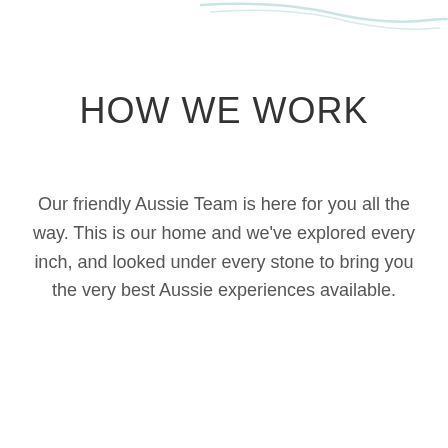[Figure (illustration): Decorative curved line or wave illustration at the top of the page]
HOW WE WORK
Our friendly Aussie Team is here for you all the way. This is our home and we've explored every inch, and looked under every stone to bring you the very best Aussie experiences available.